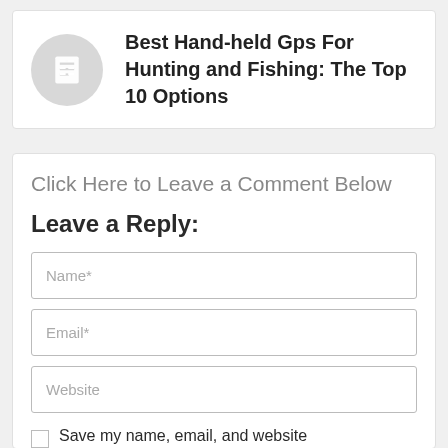Best Hand-held Gps For Hunting and Fishing: The Top 10 Options
Click Here to Leave a Comment Below
Leave a Reply:
Name*
Email*
Website
Save my name, email, and website